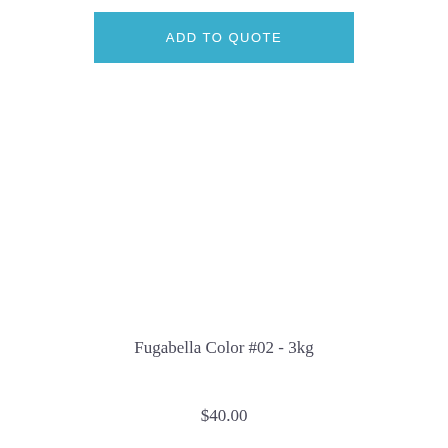ADD TO QUOTE
Fugabella Color #02 - 3kg
$40.00